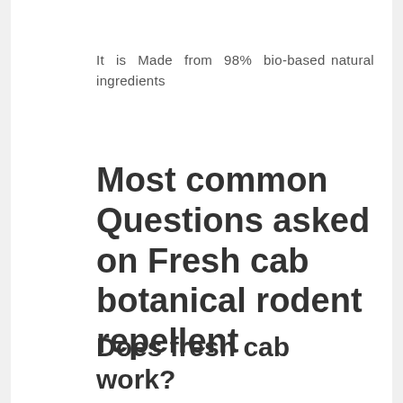It is Made from 98% bio-based natural ingredients
Most common Questions asked on Fresh cab botanical rodent repellent
Does fresh cab work?